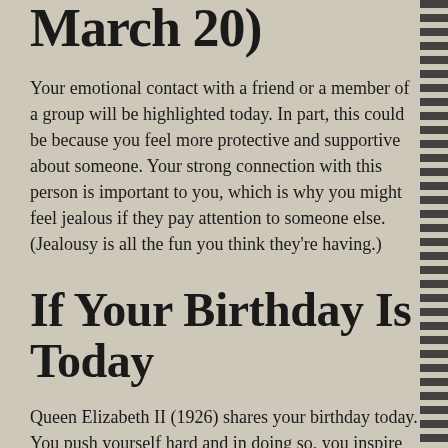March 20)
Your emotional contact with a friend or a member of a group will be highlighted today. In part, this could be because you feel more protective and supportive about someone. Your strong connection with this person is important to you, which is why you might feel jealous if they pay attention to someone else. (Jealousy is all the fun you think they're having.)
If Your Birthday Is Today
Queen Elizabeth II (1926) shares your birthday today. You push yourself hard and in doing so, you inspire others to achieve their goals. Despite your strong work ethic, you